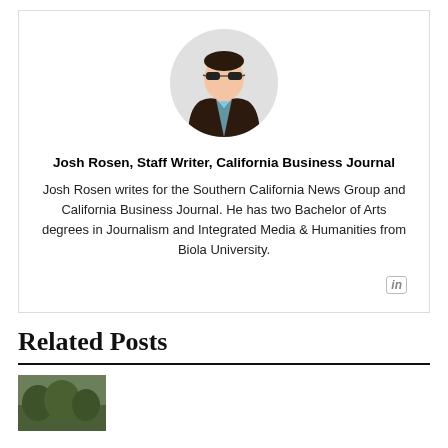[Figure (illustration): Cartoon avatar of a person wearing sunglasses and a dark jacket over a light blue shirt, shown from the waist up inside a circular gray background.]
Josh Rosen, Staff Writer, California Business Journal
Josh Rosen writes for the Southern California News Group and California Business Journal. He has two Bachelor of Arts degrees in Journalism and Integrated Media & Humanities from Biola University.
Related Posts
[Figure (photo): Partial thumbnail image at bottom, appears to show an outdoor scene with greenery.]